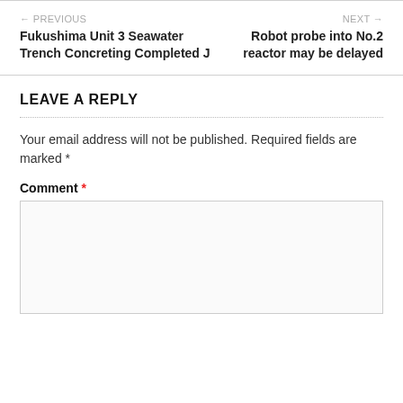← PREVIOUS
Fukushima Unit 3 Seawater Trench Concreting Completed J
NEXT →
Robot probe into No.2 reactor may be delayed
LEAVE A REPLY
Your email address will not be published. Required fields are marked *
Comment *